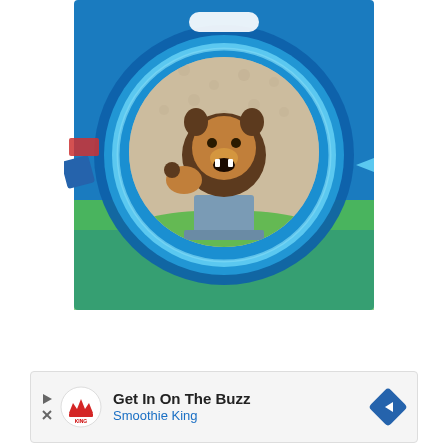[Figure (screenshot): A mobile app screenshot showing a lion in an augmented reality scene. The lion appears inside a circular portal/mirror framed with a thick blue and light-blue circular border. The background inside shows a floral wallpaper room. The outer background of the app is bright blue with a green ground visible. There are UI elements including a rounded white pill-shaped button at the top and small blue cube and arrow elements on the sides.]
[Figure (screenshot): An advertisement banner at the bottom: a white rectangle containing the Smoothie King logo on the left, text 'Get In On The Buzz' in dark text and 'Smoothie King' in blue text below it, a play button triangle icon, an X close icon, and a blue diamond-shaped arrow button on the right.]